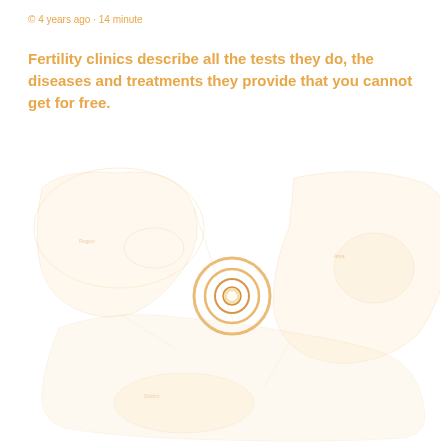© 4 years ago · 14 minute
Fertility clinics describe all the tests they do, the diseases and treatments they provide that you cannot get for free.
[Figure (map): A faint geographic map (possibly of Africa or a continent) with an orange/yellow location pin circle marker in the center area, rendered in very light orange/beige tones on white background.]